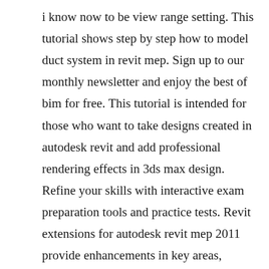i know now to be view range setting. This tutorial shows step by step how to model duct system in revit mep. Sign up to our monthly newsletter and enjoy the best of bim for free. This tutorial is intended for those who want to take designs created in autodesk revit and add professional rendering effects in 3ds max design. Refine your skills with interactive exam preparation tools and practice tests. Revit extensions for autodesk revit mep 2011 provide enhancements in key areas, including modeling, coordination, and documentation.